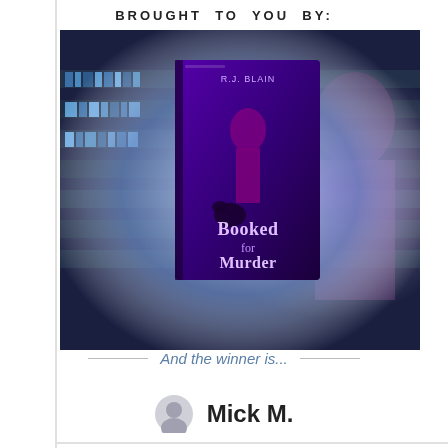BROUGHT TO YOU BY:
[Figure (photo): Book cover for 'Booked for Murder' by R.J. Blain, showing a woman in a library with blue-lit bookshelves and a mysterious glowing purple figure in the background.]
And the winner is...
Mick M.